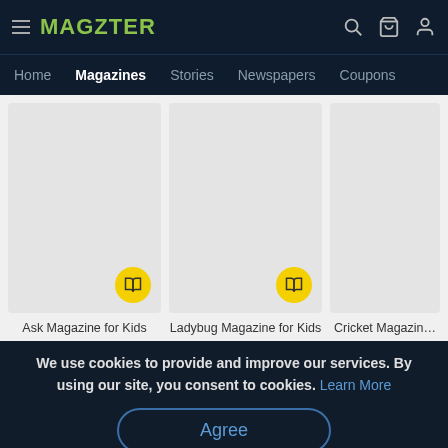MAGZTER
Home  Magazines  Stories  Newspapers  Coupons
[Figure (screenshot): Three magazine cover placeholders (light grey rectangles) with yellow circular book icons. Labels: Ask Magazine for Kids, Ladybug Magazine for Kids, Cricket Magazine (partially visible).]
Ask Magazine for Kids
Ladybug Magazine for Kids
Cricket Magazine
We use cookies to provide and improve our services. By using our site, you consent to cookies. Learn More
Agree